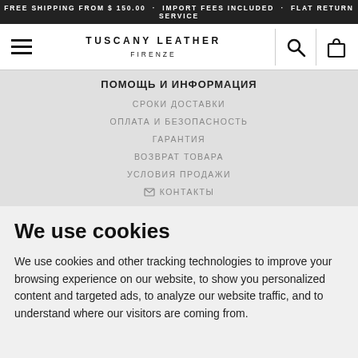FREE SHIPPING FROM $ 150.00 · IMPORT FEES INCLUDED · FLAT RETURN SERVICE
[Figure (screenshot): Tuscany Leather Firenze website navigation header with hamburger menu, brand logo, search icon, and shopping bag icon]
ПОМОЩЬ И ИНФОРМАЦИЯ
СРОКИ ДОСТАВКИ
ОПЛАТА И БЕЗОПАСНОСТЬ
ГАРАНТИЯ
ВОЗВРАТ ТОВАРА
УСЛОВИЯ ПРОДАЖИ
✉ КОНТАКТЫ
We use cookies
We use cookies and other tracking technologies to improve your browsing experience on our website, to show you personalized content and targeted ads, to analyze our website traffic, and to understand where our visitors are coming from.